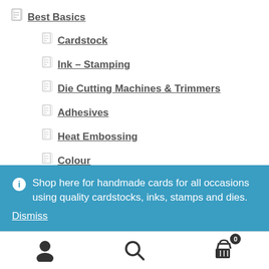Best Basics
Cardstock
Ink – Stamping
Die Cutting Machines & Trimmers
Adhesives
Heat Embossing
Colour
Handy Tools
Handy Resources
Shop here for handmade cards for all occasions using quality cardstocks, inks, stamps and dies.
Dismiss